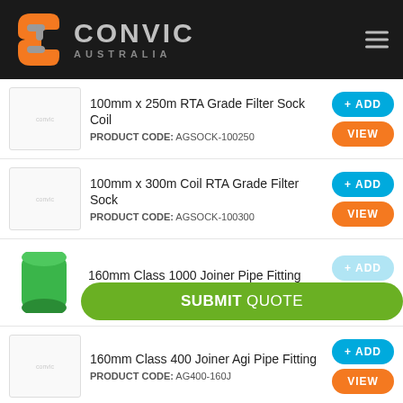[Figure (logo): Convic Australia logo with orange C-shaped icon and pipe graphic, company name in grey on dark background]
100mm x 250m RTA Grade Filter Sock Coil
PRODUCT CODE: AGSOCK-100250
100mm x 300m Coil RTA Grade Filter Sock
PRODUCT CODE: AGSOCK-100300
160mm Class 1000 Joiner Pipe Fitting
PRODUCT CODE: AG1000-160J
160mm Class 400 Joiner Agi Pipe Fitting
PRODUCT CODE: AG400-160J
SUBMIT QUOTE